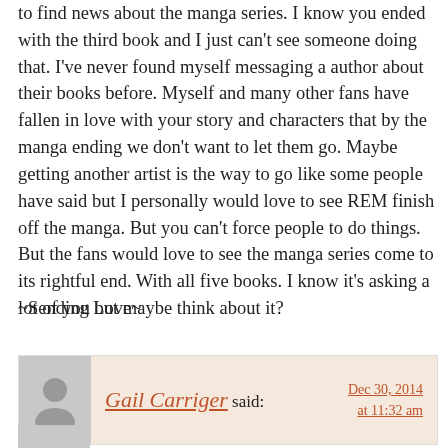to find news about the manga series. I know you ended with the third book and I just can't see someone doing that. I've never found myself messaging a author about their books before. Myself and many other fans have fallen in love with your story and characters that by the manga ending we don't want to let them go. Maybe getting another artist is the way to go like some people have said but I personally would love to see REM finish off the manga. But you can't force people to do things. But the fans would love to see the manga series come to its rightful end. With all five books. I know it's asking a lot of you but maybe think about it?
~Sending Love~
Gail Carriger said:
Dec 30, 2014 at 11:32 am
This comment has been removed by the author.